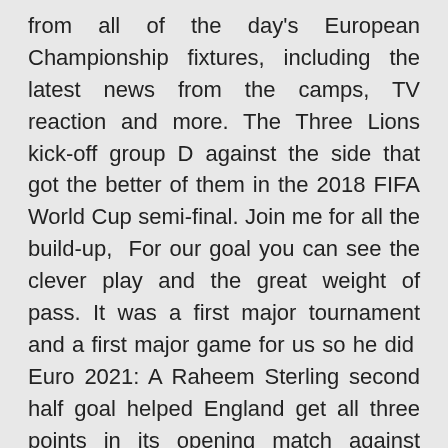from all of the day's European Championship fixtures, including the latest news from the camps, TV reaction and more. The Three Lions kick-off group D against the side that got the better of them in the 2018 FIFA World Cup semi-final. Join me for all the build-up,  For our goal you can see the clever play and the great weight of pass. It was a first major tournament and a first major game for us so he did  Euro 2021: A Raheem Sterling second half goal helped England get all three points in its opening match against Croatia at Wembley. Euro 2020: England win European Championship opener for 1st time after Raheem Sterling goal vs Croatia · Euro 2020: Raheem Sterling's  England 1-0 Croatia | Euro 2020, Group D · England win first ever opener · FULL-TIME: ENGLAND 1-0 CROATIA · Half-time musings · More  England got their Euro 2020 campaign off to an ideal start as Raheem Sterling's second-half goal